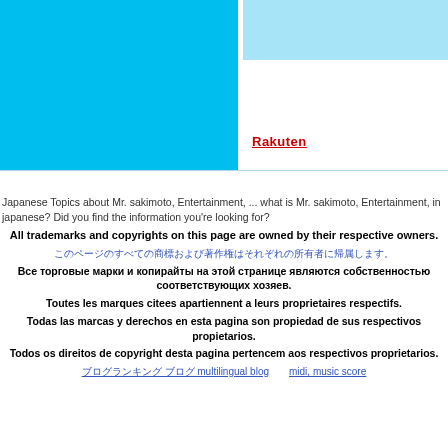[Figure (screenshot): Banner area with large cyan/blue rectangle on the left side, a light blue strip top-right, white area below right with Rakuten logo text in red, and a light blue horizontal border at bottom]
Japanese Topics about Mr. sakimoto, Entertainment, ... what is Mr. sakimoto, Entertainment, in japanese? Did you find the information you're looking for?
All trademarks and copyrights on this page are owned by their respective owners.
このページのすべての商標および著作権はそれぞれの所有者に帰属します。
Все торговые марки и копирайты на этой странице являются собственностью соответствующих хозяев.
Toutes les marques citees apartiennent a leurs proprietaires respectifs.
Todas las marcas y derechos en esta pagina son propiedad de sus respectivos propietarios.
Todos os direitos de copyright desta pagina pertencem aos respectivos proprietarios.
ブログランキング blog  multilingual blog    midi, music score